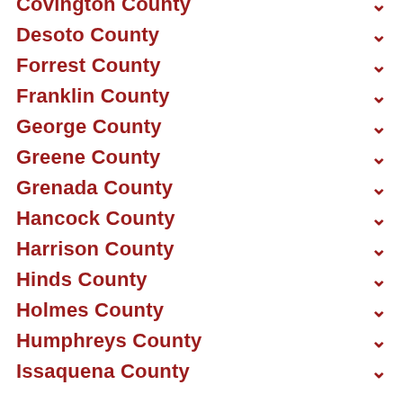Covington County
Desoto County
Forrest County
Franklin County
George County
Greene County
Grenada County
Hancock County
Harrison County
Hinds County
Holmes County
Humphreys County
Issaquena County